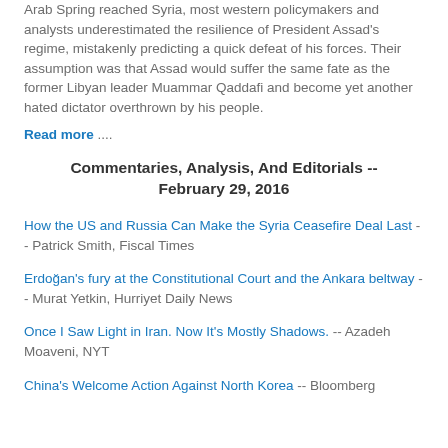Arab Spring reached Syria, most western policymakers and analysts underestimated the resilience of President Assad's regime, mistakenly predicting a quick defeat of his forces. Their assumption was that Assad would suffer the same fate as the former Libyan leader Muammar Qaddafi and become yet another hated dictator overthrown by his people.
Read more ....
Commentaries, Analysis, And Editorials -- February 29, 2016
How the US and Russia Can Make the Syria Ceasefire Deal Last -- Patrick Smith, Fiscal Times
Erdoğan's fury at the Constitutional Court and the Ankara beltway -- Murat Yetkin, Hurriyet Daily News
Once I Saw Light in Iran. Now It's Mostly Shadows. -- Azadeh Moaveni, NYT
China's Welcome Action Against North Korea -- Bloomberg